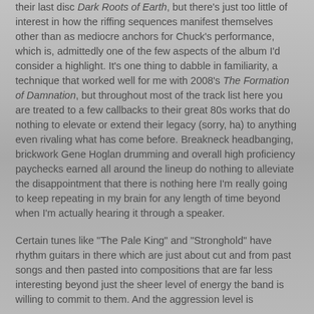their last disc Dark Roots of Earth, but there's just too little of interest in how the riffing sequences manifest themselves other than as mediocre anchors for Chuck's performance, which is, admittedly one of the few aspects of the album I'd consider a highlight. It's one thing to dabble in familiarity, a technique that worked well for me with 2008's The Formation of Damnation, but throughout most of the track list here you are treated to a few callbacks to their great 80s works that do nothing to elevate or extend their legacy (sorry, ha) to anything even rivaling what has come before. Breakneck headbanging, brickwork Gene Hoglan drumming and overall high proficiency paychecks earned all around the lineup do nothing to alleviate the disappointment that there is nothing here I'm really going to keep repeating in my brain for any length of time beyond when I'm actually hearing it through a speaker.
Certain tunes like "The Pale King" and "Stronghold" have rhythm guitars in there which are just about cut and from past songs and then pasted into compositions that are far less interesting beyond just the sheer level of energy the band is willing to commit to them. And the aggression level is